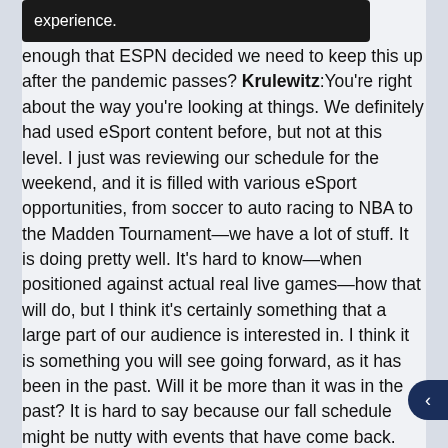[Figure (other): Black tooltip/popup bar with white text reading 'experience.' partially visible at top]
enough that ESPN decided we need to keep this up after the pandemic passes? Krulewitz: You're right about the way you're looking at things. We definitely had used eSport content before, but not at this level. I just was reviewing our schedule for the weekend, and it is filled with various eSport opportunities, from soccer to auto racing to NBA to the Madden Tournament—we have a lot of stuff. It is doing pretty well. It's hard to know—when positioned against actual real live games—how that will do, but I think it's certainly something that a large part of our audience is interested in. I think it is something you will see going forward, as it has been in the past. Will it be more than it was in the past? It is hard to say because our fall schedule might be nutty with events that have come back. But, yes, we might learn some things that help us serve fans in the future. There is no question we're keeping an eye on that now.